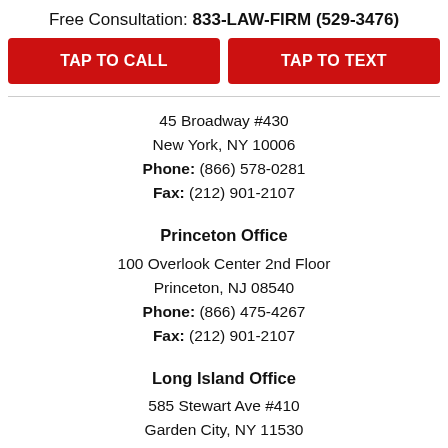Free Consultation: 833-LAW-FIRM (529-3476)
TAP TO CALL
TAP TO TEXT
45 Broadway #430
New York, NY 10006
Phone: (866) 578-0281
Fax: (212) 901-2107
Princeton Office
100 Overlook Center 2nd Floor
Princeton, NJ 08540
Phone: (866) 475-4267
Fax: (212) 901-2107
Long Island Office
585 Stewart Ave #410
Garden City, NY 11530